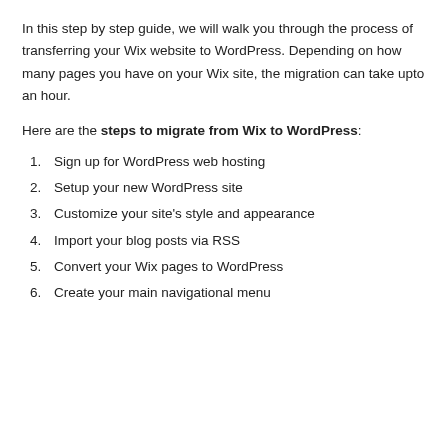In this step by step guide, we will walk you through the process of transferring your Wix website to WordPress. Depending on how many pages you have on your Wix site, the migration can take upto an hour.
Here are the steps to migrate from Wix to WordPress:
Sign up for WordPress web hosting
Setup your new WordPress site
Customize your site's style and appearance
Import your blog posts via RSS
Convert your Wix pages to WordPress
Create your main navigational menu